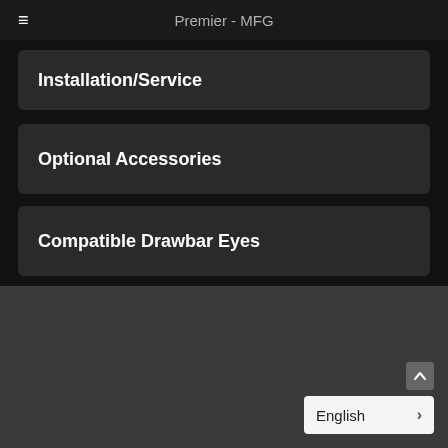Premier - MFG
Installation/Service
Optional Accessories
Compatible Drawbar Eyes
English